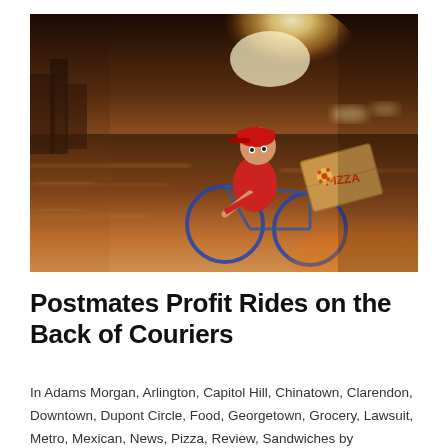[Figure (photo): A delivery courier in a red t-shirt and red cap riding a bicycle at high speed on a road, carrying a pizza box under one arm. Motion blur on the road and background suggests fast movement. Urban street scene with warm sunset lighting.]
Postmates Profit Rides on the Back of Couriers
In Adams Morgan, Arlington, Capitol Hill, Chinatown, Clarendon, Downtown, Dupont Circle, Food, Georgetown, Grocery, Lawsuit, Metro, Mexican, News, Pizza, Review, Sandwiches by